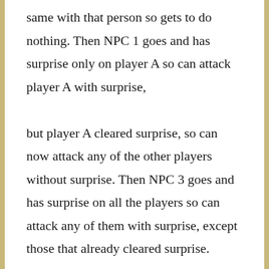same with that person so gets to do nothing. Then NPC 1 goes and has surprise only on player A so can attack player A with surprise, but player A cleared surprise, so can now attack any of the other players without surprise. Then NPC 3 goes and has surprise on all the players so can attack any of them with surprise, except those that already cleared surprise. Then NPC 2 goes and can attack player B or D with surprise, or attack player